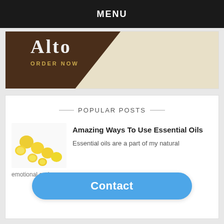MENU
[Figure (photo): Advertisement banner with dark brown background and cream/beige area, showing text 'Alto' and 'ORDER NOW' in gold letters]
POPULAR POSTS
[Figure (photo): Photo of lemons and lemon halves scattered on white background]
Amazing Ways To Use Essential Oils
Essential oils are a part of my natural emotional and ...
Contact